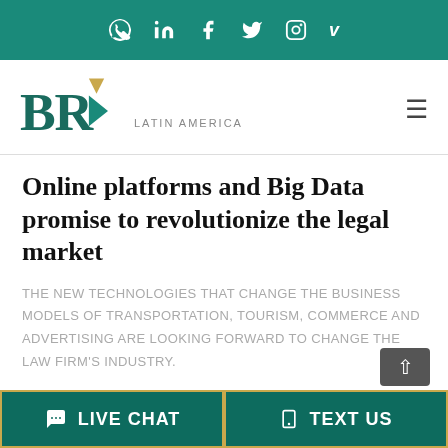[Figure (other): Teal social media top bar with icons for WhatsApp, LinkedIn, Facebook, Twitter, Instagram, Vimeo]
[Figure (logo): BRI Latin America logo with teal and gold arrow shapes and the letters BR, with text LATIN AMERICA and hamburger menu icon]
Online platforms and Big Data promise to revolutionize the legal market
THE NEW TECHNOLOGIES THAT CHANGE THE BUSINESS MODELS OF TRANSPORTATION, TOURISM, COMMERCE AND ADVERTISING ARE LOOKING FORWARD TO CHANGE THE LAW FIRM'S INDUSTRY.
[Figure (other): Bottom bar with LIVE CHAT and TEXT US buttons in dark teal with gold borders]